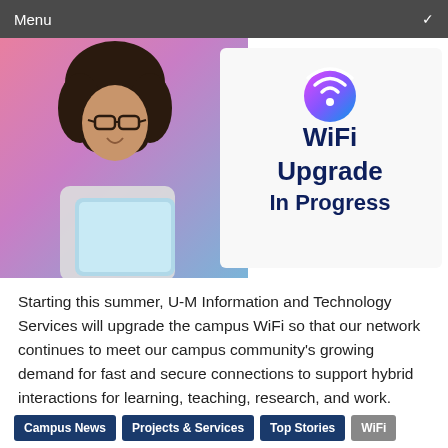Menu
[Figure (photo): A young woman with curly hair and glasses smiling while holding a tablet, with a gradient pink-to-blue background on the left. On the right side, a white panel shows a colorful WiFi icon and the text 'WiFi Upgrade In Progress' in dark navy bold font.]
Starting this summer, U-M Information and Technology Services will upgrade the campus WiFi so that our network continues to meet our campus community's growing demand for fast and secure connections to support hybrid interactions for learning, teaching, research, and work.
Campus News
Projects & Services
Top Stories
WiFi